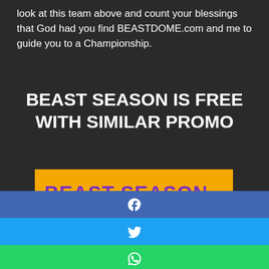look at this team above and count your blessings that God had you find BEASTDOME.com and me to guide you to a Championship.
BEAST SEASON IS FREE WITH SIMILAR PROMO
[Figure (other): Yellow banner with purple bold text reading 'BEAST SEASON 2019']
[Figure (infographic): Social share buttons: Facebook (blue), Twitter (light blue), WhatsApp (green), Telegram (teal)]